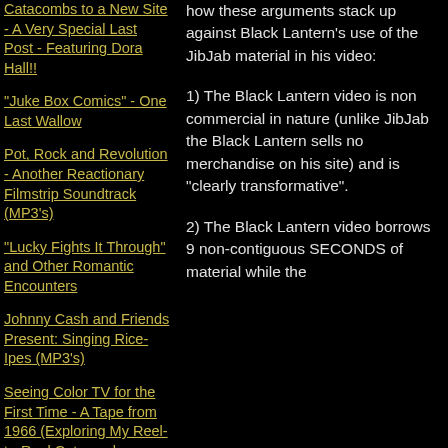Catacombs to a New Site - A Very Special Last Post - Featuring Dora Hall!!
"Juke Box Comics" - One Last Wallow
Pot, Rock and Revolution - Another Reactionary Filmstrip Soundtrack (MP3's)
"Lucky Fights It Through" and Other Romantic Encounters
Johnny Cash and Friends Present: Singing Rice-Ipes (MP3's)
Seeing Color TV for the First Time - A Tape from 1966 (Exploring My Reel-to-Reel Catacombs, Volume 66) (MP3)
Scotty Scott and his Vanity 45 (MP3's)
Silly Pilly vs. Mighty Bear
how these arguments stack up against Black Lantern's use of the JibJab material in his video:

1) The Black Lantern video is non commercial in nature (unlike JibJab the Black Lantern sells no merchandise on his site) and is "clearly transformative".

2) The Black Lantern video borrows 9 non-contiguous SECONDS of material while the